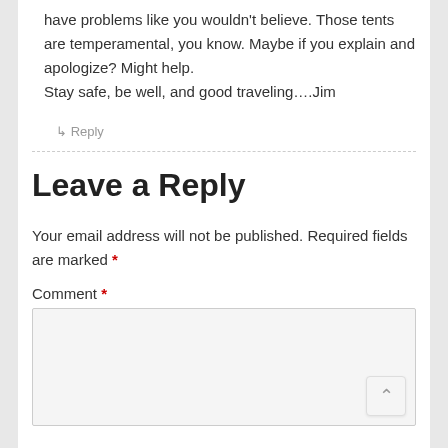have problems like you wouldn't believe. Those tents are temperamental, you know. Maybe if you explain and apologize? Might help.
Stay safe, be well, and good traveling….Jim
↳ Reply
Leave a Reply
Your email address will not be published. Required fields are marked *
Comment *